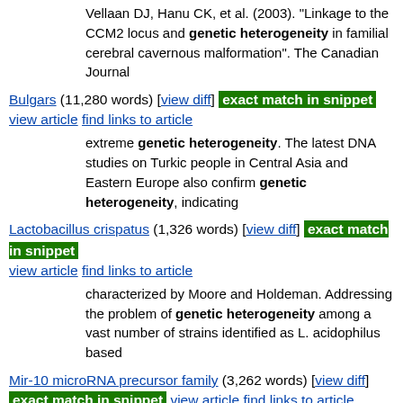Vellaan DJ, Hanu CK, et al. (2003). "Linkage to the CCM2 locus and genetic heterogeneity in familial cerebral cavernous malformation". The Canadian Journal
Bulgars (11,280 words) [view diff] exact match in snippet view article find links to article
extreme genetic heterogeneity. The latest DNA studies on Turkic people in Central Asia and Eastern Europe also confirm genetic heterogeneity, indicating
Lactobacillus crispatus (1,326 words) [view diff] exact match in snippet view article find links to article
characterized by Moore and Holdeman. Addressing the problem of genetic heterogeneity among a vast number of strains identified as L. acidophilus based
Mir-10 microRNA precursor family (3,262 words) [view diff] exact match in snippet view article find links to article
B (May 2008). "MicroRNA expression profiling in relation to the genetic heterogeneity of acute